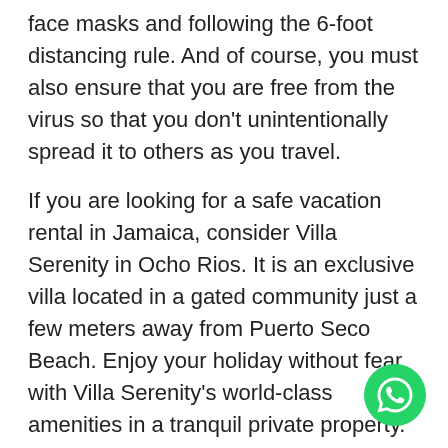face masks and following the 6-foot distancing rule. And of course, you must also ensure that you are free from the virus so that you don't unintentionally spread it to others as you travel.
If you are looking for a safe vacation rental in Jamaica, consider Villa Serenity in Ocho Rios. It is an exclusive villa located in a gated community just a few meters away from Puerto Seco Beach. Enjoy your holiday without fear with Villa Serenity's world-class amenities in a tranquil private property. Check out all-inclusive packages at https://www.jamaicaoceanviewvilla.com/.
[Figure (logo): WhatsApp green circle button icon in bottom-right corner]